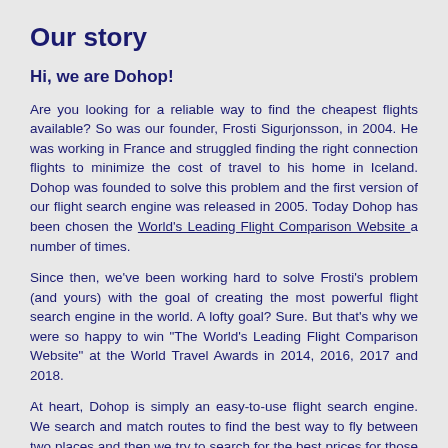Our story
Hi, we are Dohop!
Are you looking for a reliable way to find the cheapest flights available? So was our founder, Frosti Sigurjonsson, in 2004. He was working in France and struggled finding the right connection flights to minimize the cost of travel to his home in Iceland. Dohop was founded to solve this problem and the first version of our flight search engine was released in 2005. Today Dohop has been chosen the World's Leading Flight Comparison Website a number of times.
Since then, we've been working hard to solve Frosti's problem (and yours) with the goal of creating the most powerful flight search engine in the world. A lofty goal? Sure. But that's why we were so happy to win "The World's Leading Flight Comparison Website" at the World Travel Awards in 2014, 2016, 2017 and 2018.
At heart, Dohop is simply an easy-to-use flight search engine. We search and match routes to find the best way to fly between two places and then we try to search for the best prices for those routes. We also find rental cars and hotel rooms. All our results of course take the price into account and we always display the cheapest results we find.
We're not a big company but we are growing and we have a terrific